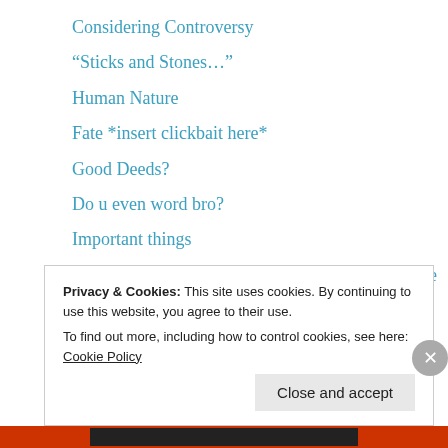Considering Controversy
“Sticks and Stones…”
Human Nature
Fate *insert clickbait here*
Good Deeds?
Do u even word bro?
Important things
Everyday Heroes vs 1000 Degree Knife Challenge (Gone Violent!!!)
My Favorite Picture Book
Privacy & Cookies: This site uses cookies. By continuing to use this website, you agree to their use.
To find out more, including how to control cookies, see here: Cookie Policy
Close and accept